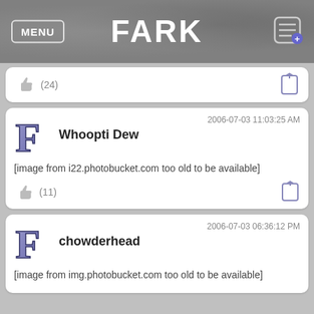MENU | FARK
(24)
Whoopti Dew
2006-07-03 11:03:25 AM
[image from i22.photobucket.com too old to be available]
(11)
chowderhead
2006-07-03 06:36:12 PM
[image from img.photobucket.com too old to be available]